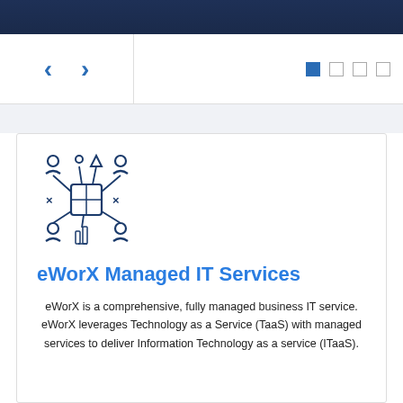[Figure (screenshot): Dark navy blue header bar at the top of the page, part of a website UI]
[Figure (screenshot): Navigation bar with left/right arrow controls and view mode dots (one filled, three empty)]
[Figure (illustration): Icon showing a network of people/users connected by lines, representing managed IT services]
eWorX Managed IT Services
eWorX is a comprehensive, fully managed business IT service. eWorX leverages Technology as a Service (TaaS) with managed services to deliver Information Technology as a service (ITaaS).